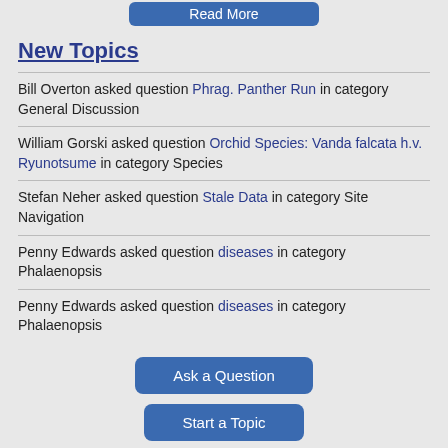New Topics
Bill Overton asked question Phrag. Panther Run in category General Discussion
William Gorski asked question Orchid Species: Vanda falcata h.v. Ryunotsume in category Species
Stefan Neher asked question Stale Data in category Site Navigation
Penny Edwards asked question diseases in category Phalaenopsis
Penny Edwards asked question diseases in category Phalaenopsis
Ask a Question
Start a Topic